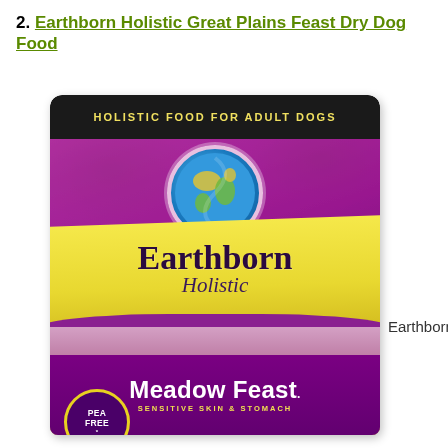2. Earthborn Holistic Great Plains Feast Dry Dog Food
[Figure (photo): Earthborn Holistic Meadow Feast dry dog food bag. Purple packaging with black top strip reading 'HOLISTIC FOOD FOR ADULT DOGS' in yellow letters. Features a globe logo, 'Earthborn Holistic' brand name on a yellow wave band, sheep standing in a field, a 'PEA FREE' circular badge, and 'Meadow Feast - Sensitive Skin & Stomach' text at the bottom.]
Earthborn